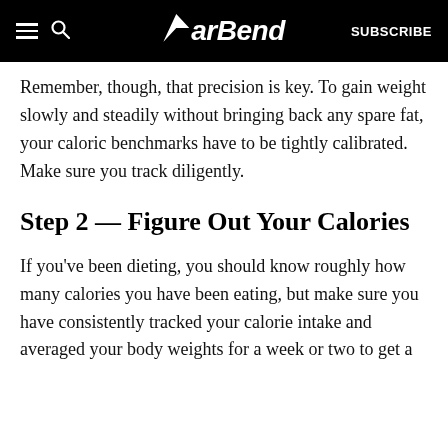BarBend — SUBSCRIBE
Remember, though, that precision is key. To gain weight slowly and steadily without bringing back any spare fat, your caloric benchmarks have to be tightly calibrated. Make sure you track diligently.
Step 2 — Figure Out Your Calories
If you've been dieting, you should know roughly how many calories you have been eating, but make sure you have consistently tracked your calorie intake and averaged your body weights for a week or two to get a